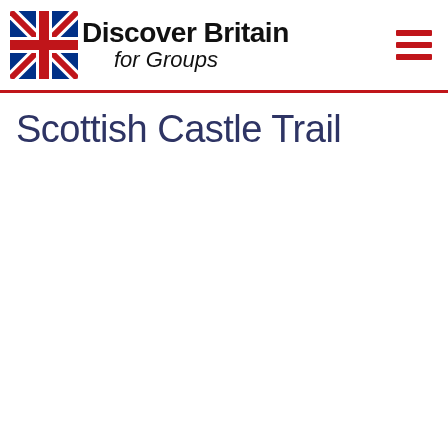[Figure (logo): Discover Britain for Groups logo with Union Jack flag on the left and brand name text on the right]
[Figure (other): Hamburger menu icon made of three red horizontal bars]
Scottish Castle Trail